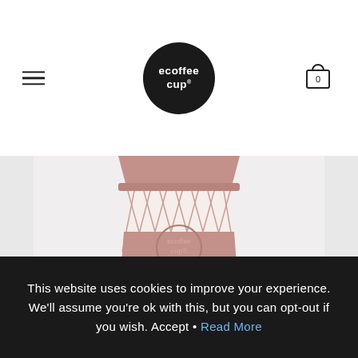ecoffee cup® logo, hamburger menu, cart icon
[Figure (photo): Ecoffee Cup reusable bamboo coffee cup with pink/dusty rose lid and silicone sleeve featuring the ecoffee cup logo embossed. The cup body has a cream/white background with a pink geometric net/lattice pattern. Viewed from slightly above, showing the full cup.]
This website uses cookies to improve your experience. We'll assume you're ok with this, but you can opt-out if you wish. Accept • Read More